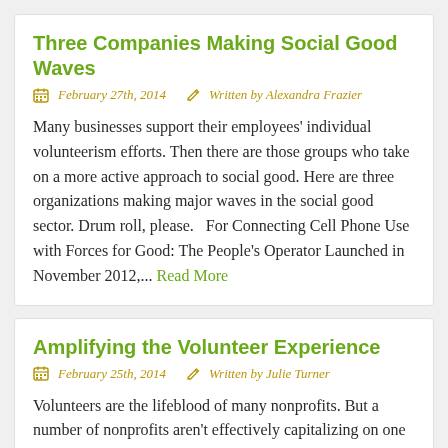Three Companies Making Social Good Waves
February 27th, 2014   Written by Alexandra Frazier
Many businesses support their employees' individual volunteerism efforts. Then there are those groups who take on a more active approach to social good. Here are three organizations making major waves in the social good sector. Drum roll, please.   For Connecting Cell Phone Use with Forces for Good: The People's Operator Launched in November 2012,... Read More
Amplifying the Volunteer Experience
February 25th, 2014   Written by Julie Turner
Volunteers are the lifeblood of many nonprofits. But a number of nonprofits aren't effectively capitalizing on one of their greatest assets. Here's why. Many nonprofits fill volunteer positions based on immediate needs such